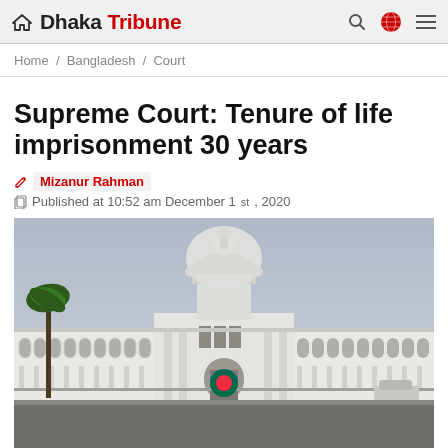Dhaka Tribune
Home / Bangladesh / Court
Supreme Court: Tenure of life imprisonment 30 years
Mizanur Rahman
Published at 10:52 am December 1st, 2020
[Figure (photo): Photograph of the Bangladesh Supreme Court building — a large white colonial-style structure with a central dome, colonnaded wings, and a circular flower garden in the foreground under an overcast sky.]